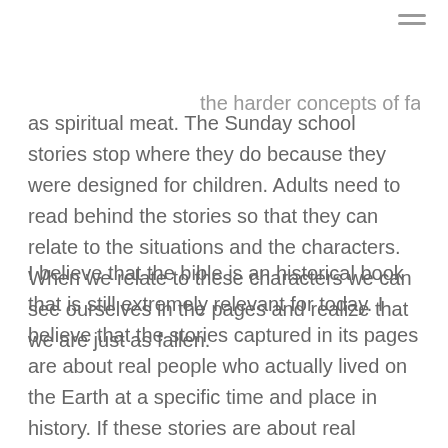≡
the harder concepts of faith as spiritual meat. The Sunday school stories stop where they do because they were designed for children. Adults need to read behind the stories so that they can relate to the situations and the characters. When we relate to these characters we can see ourselves in the pages and realize that we are just as fallen.
I believe that the bible is an historical book that is still extremely relevant for today. I believe that the stories captured in its pages are about real people who actually lived on the Earth at a specific time and place in history. If these stories are about real people then I believe these real people had emotions, and stress and life situations that created the conditions for the bible stories they are in.